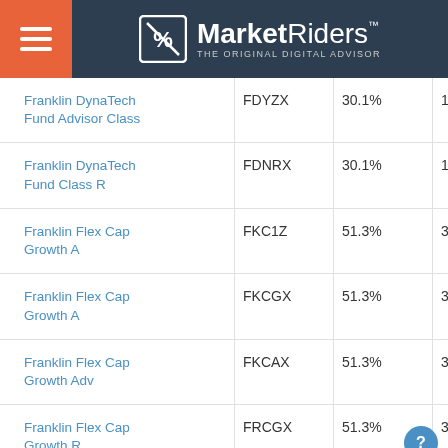MarketRiders — THE ORIGINAL DIGITAL ADVISOR
| Fund Name | Ticker | Percentage | Number |
| --- | --- | --- | --- |
| Franklin DynaTech Fund Advisor Class | FDYZX | 30.1% | 1,200 |
| Franklin DynaTech Fund Class R | FDNRX | 30.1% | 1,200 |
| Franklin Flex Cap Growth A | FKC1Z | 51.3% | 3,400 |
| Franklin Flex Cap Growth A | FKCGX | 51.3% | 3,400 |
| Franklin Flex Cap Growth Adv | FKCAX | 51.3% | 3,400 |
| Franklin Flex Cap Growth R | FRCGX | 51.3% | 3,400 |